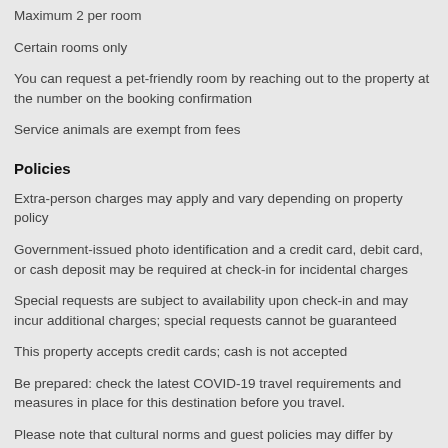Maximum 2 per room
Certain rooms only
You can request a pet-friendly room by reaching out to the property at the number on the booking confirmation
Service animals are exempt from fees
Policies
Extra-person charges may apply and vary depending on property policy
Government-issued photo identification and a credit card, debit card, or cash deposit may be required at check-in for incidental charges
Special requests are subject to availability upon check-in and may incur additional charges; special requests cannot be guaranteed
This property accepts credit cards; cash is not accepted
Be prepared: check the latest COVID-19 travel requirements and measures in place for this destination before you travel.
Please note that cultural norms and guest policies may differ by country and by property; the policies listed are provided by the property
Charges for extra guests may apply and vary according to property policy.
A cash deposit, credit card, or debit card for incidental charges and government-issued photo identification may be required upon check-in